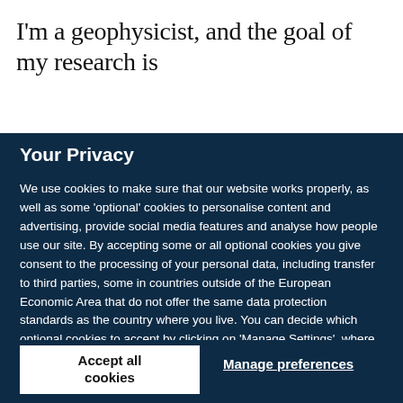I'm a geophysicist, and the goal of my research is to understand how...
Your Privacy
We use cookies to make sure that our website works properly, as well as some 'optional' cookies to personalise content and advertising, provide social media features and analyse how people use our site. By accepting some or all optional cookies you give consent to the processing of your personal data, including transfer to third parties, some in countries outside of the European Economic Area that do not offer the same data protection standards as the country where you live. You can decide which optional cookies to accept by clicking on 'Manage Settings', where you can also find more information about how your personal data is processed. Further information can be found in our privacy policy.
Accept all cookies
Manage preferences